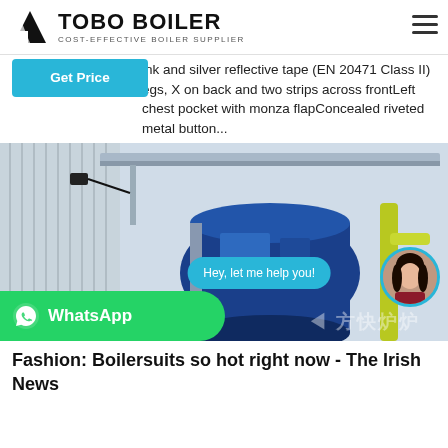TOBO BOILER — COST-EFFECTIVE BOILER SUPPLIER
ink and silver reflective tape (EN 20471 Class II) egs, X on back and two strips across frontLeft chest pocket with monza flapConcealed riveted metal button...
[Figure (photo): Industrial boiler equipment in a factory setting, blue boiler unit visible with metallic corrugated panels. WhatsApp button overlay at bottom left and chat bubble with avatar at bottom right.]
Fashion: Boilersuits so hot right now - The Irish News